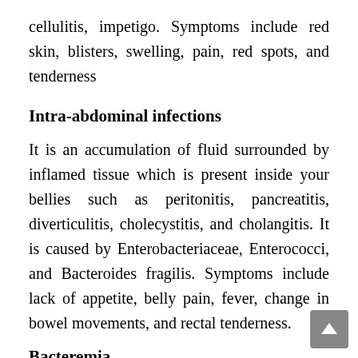cellulitis, impetigo. Symptoms include red skin, blisters, swelling, pain, red spots, and tenderness
Intra-abdominal infections
It is an accumulation of fluid surrounded by inflamed tissue which is present inside your bellies such as peritonitis, pancreatitis, diverticulitis, cholecystitis, and cholangitis. It is caused by Enterobacteriaceae, Enterococci, and Bacteroides fragilis. Symptoms include lack of appetite, belly pain, fever, change in bowel movements, and rectal tenderness.
Bacteremia
The presence of bacteria in your bloodstream. It is caused by Staphylococcus aureus, E.c…